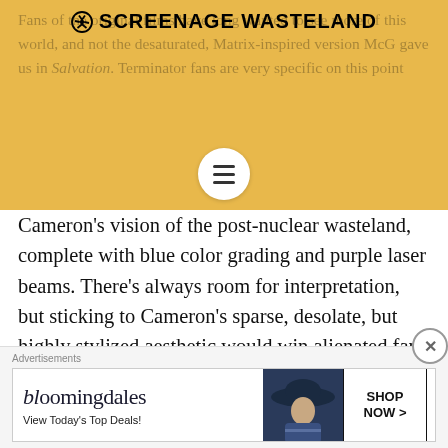☢ SCREENAGE WASTELAND
Fans of the original films have long wanted to see more of this world, and not the desaturated, Matrix-inspired version McG gave us in Salvation. Terminator fans are very specific on this point — it needs to be James Cameron's vision of the post-nuclear wasteland, complete with blue color grading and purple laser beams. There's always room for interpretation, but sticking to Cameron's sparse, desolate, but highly stylized aesthetic would win alienated fans back. And it would be a novel change from the washed out, colorless dystopias audiences are used to.
The beauty of pursuing this line of storytelling is that there's 30+ years of post-apocalyptic timeline to mine
Advertisements
[Figure (screenshot): Bloomingdales advertisement banner with logo, 'View Today's Top Deals!' text, woman with hat image, and 'SHOP NOW >' button]